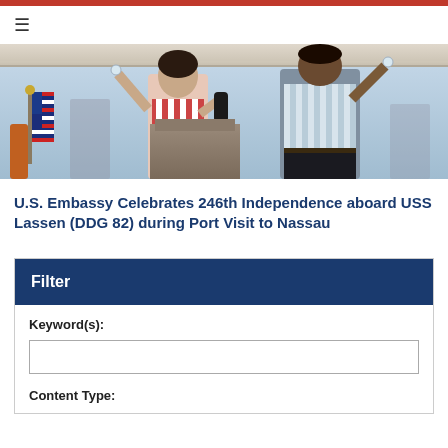[Figure (photo): Two people toasting with glasses at an outdoor event with a U.S. flag and podium visible, under a tent awning.]
U.S. Embassy Celebrates 246th Independence aboard USS Lassen (DDG 82) during Port Visit to Nassau
Filter
Keyword(s):
Content Type: